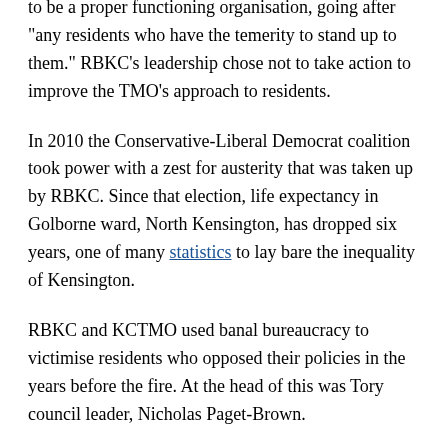to be a proper functioning organisation, going after "any residents who have the temerity to stand up to them." RBKC's leadership chose not to take action to improve the TMO's approach to residents.
In 2010 the Conservative-Liberal Democrat coalition took power with a zest for austerity that was taken up by RBKC. Since that election, life expectancy in Golborne ward, North Kensington, has dropped six years, one of many statistics to lay bare the inequality of Kensington.
RBKC and KCTMO used banal bureaucracy to victimise residents who opposed their policies in the years before the fire. At the head of this was Tory council leader, Nicholas Paget-Brown.